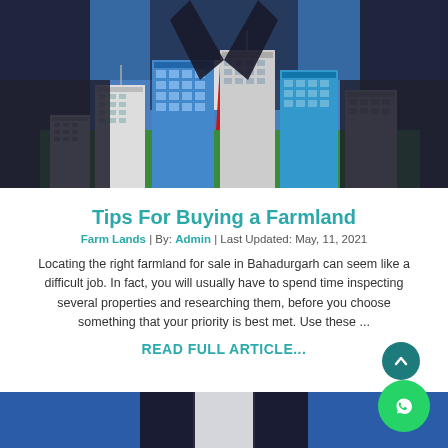[Figure (photo): A businessman in a dark suit with a red tie standing behind a set of miniature building models on green grass against a blue sky background]
Tips For Buying a Farmland
Farm Lands | By: Admin | Last Updated: May, 11, 2021
Locating the right farmland for sale in Bahadurgarh can seem like a difficult job. In fact, you will usually have to spend time inspecting several properties and researching them, before you choose something that your priority is best met. Use these ...
READ FULL ARTICLE...
[Figure (photo): Bottom portion of a businessman in a suit and white shirt, partial view showing torso area against a blue background]